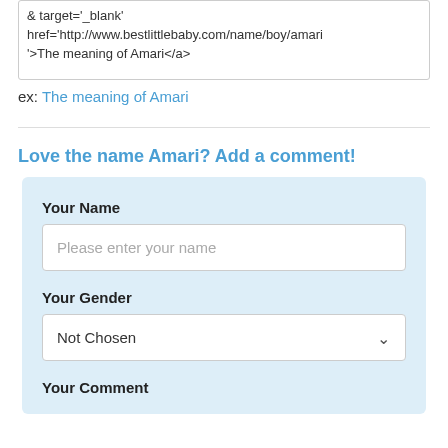[Figure (screenshot): Textarea showing HTML code: & target='_blank' href='http://www.bestlittlebaby.com/name/boy/amari'>The meaning of Amari</a>]
ex: The meaning of Amari
Love the name Amari? Add a comment!
Your Name
Please enter your name
Your Gender
Not Chosen
Your Comment